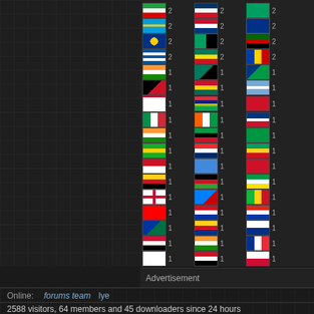[Figure (screenshot): Screenshot of a website showing a grid of country flags with visitor counts (all showing 1 or 2), arranged in three columns within a dark-themed UI.]
Advertisement
Online: forums team lye
2588 visitors, 64 members and 45 downloaders since 24 hours